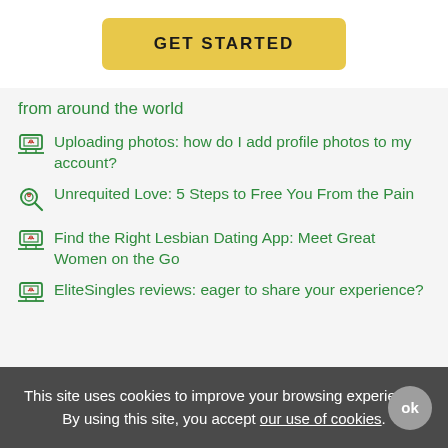[Figure (other): Yellow 'GET STARTED' button]
from around the world
Uploading photos: how do I add profile photos to my account?
Unrequited Love: 5 Steps to Free You From the Pain
Find the Right Lesbian Dating App: Meet Great Women on the Go
EliteSingles reviews: eager to share your experience?
This site uses cookies to improve your browsing experience. By using this site, you accept our use of cookies.